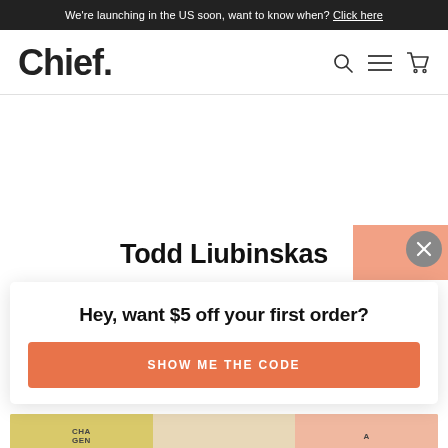We're launching in the US soon, want to know when? Click here
Chief.
Todd Liubinskas
Hey, want $5 off your first order?
SHOW ME THE CODE